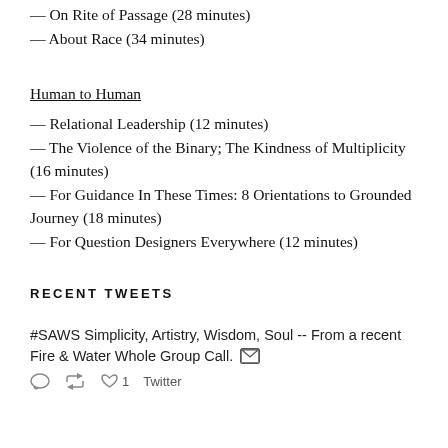— On Rite of Passage (28 minutes)
— About Race (34 minutes)
Human to Human
— Relational Leadership (12 minutes)
— The Violence of the Binary; The Kindness of Multiplicity (16 minutes)
— For Guidance In These Times: 8 Orientations to Grounded Journey (18 minutes)
— For Question Designers Everywhere (12 minutes)
RECENT TWEETS
#SAWS Simplicity, Artistry, Wisdom, Soul -- From a recent Fire & Water Whole Group Call. [image icon]
Twitter [social action icons]